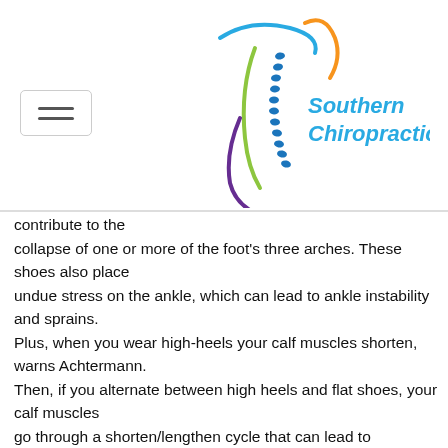[Figure (logo): Southern Chiropractic logo with colorful spine illustration (blue, orange, green, purple curves and dotted spine) and text 'Southern Chiropractic' in blue]
contribute to the collapse of one or more of the foot's three arches. These shoes also place undue stress on the ankle, which can lead to ankle instability and sprains.
Plus, when you wear high-heels your calf muscles shorten, warns Achtermann.
Then, if you alternate between high heels and flat shoes, your calf muscles go through a shorten/lengthen cycle that can lead to